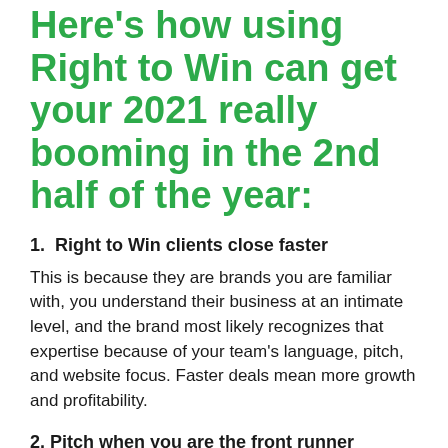Here's how using Right to Win can get your 2021 really booming in the 2nd half of the year:
1.  Right to Win clients close faster
This is because they are brands you are familiar with, you understand their business at an intimate level, and the brand most likely recognizes that expertise because of your team's language, pitch, and website focus. Faster deals mean more growth and profitability.
2. Pitch when you are the front runner
Pitching is far from an exact (or even fair) science. It is a costly and timely process that can pull your